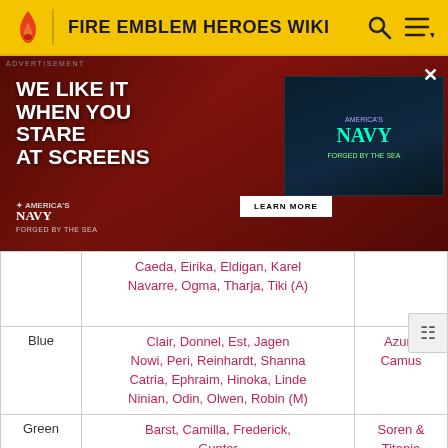FIRE EMBLEM HEROES WIKI
[Figure (screenshot): Advertisement banner for America's Navy 'Forged by the Sea' campaign showing a person looking at screens with text 'WE LIKE IT WHEN YOU STARE AT SCREENS' and a Learn More button]
| Color | Names | Special |
| --- | --- | --- |
|  | Caeda, Eirika, Eldigan, Karel Navarre, Ogma, Tharja, Tiki (A) |  |
| Blue | Clair, Donnel, Est, Jagen Nowi, Peri, Reinhardt, Shanna Catria, Ephraim, Hinoka, Linde Ninian, Odin, Olwen, Robin (M) | Azura Camus |
| Green | Barst, Camilla, Frederick, Gunter Michalis, Minerva, Nino, Robin (F) | Soren & Titania Hector |